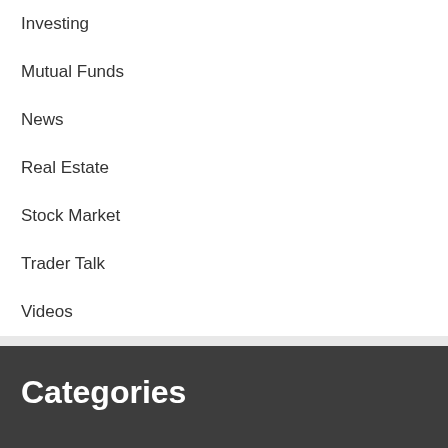Investing
Mutual Funds
News
Real Estate
Stock Market
Trader Talk
Videos
Categories
Bitcoin
Bonds